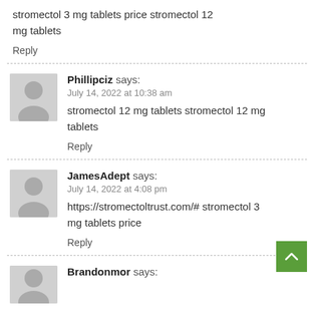stromectol 3 mg tablets price stromectol 12 mg tablets
Reply
Phillipciz says:
July 14, 2022 at 10:38 am
stromectol 12 mg tablets stromectol 12 mg tablets
Reply
JamesAdept says:
July 14, 2022 at 4:08 pm
https://stromectoltrust.com/# stromectol 3 mg tablets price
Reply
Brandonmor says: